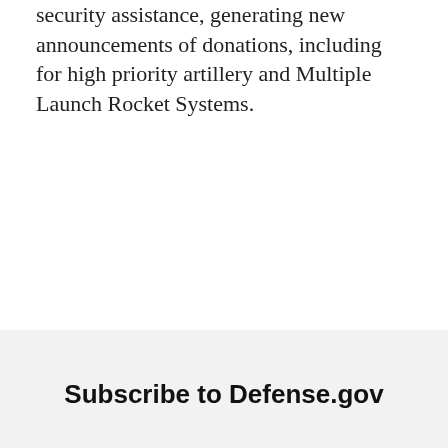security assistance, generating new announcements of donations, including for high priority artillery and Multiple Launch Rocket Systems.
[Figure (other): Two circular social media share icons — Facebook (f) and Twitter (bird) — with thin gray circular borders on a white background.]
ukraine response
Subscribe to Defense.gov